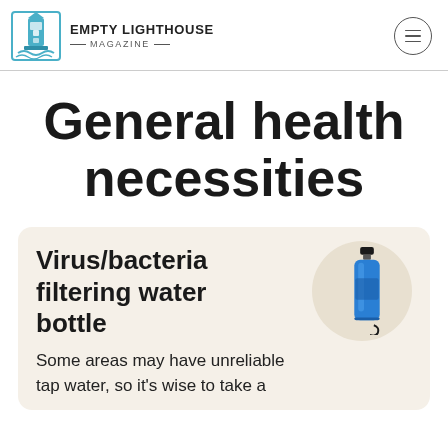EMPTY LIGHTHOUSE MAGAZINE
General health necessities
Virus/bacteria filtering water bottle
Some areas may have unreliable tap water, so it's wise to take a